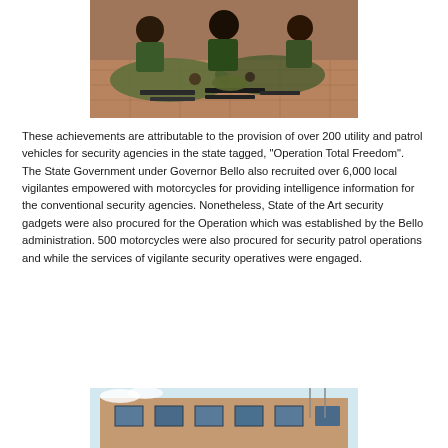[Figure (photo): Security personnel seated behind a display of confiscated weapons, military clothing and other seized items laid out on the ground on paved surface]
These achievements are attributable to the provision of over 200 utility and patrol vehicles for security agencies in the state tagged, “Operation Total Freedom”. The State Government under Governor Bello also recruited over 6,000 local vigilantes empowered with motorcycles for providing intelligence information for the conventional security agencies. Nonetheless, State of the Art security gadgets were also procured for the Operation which was established by the Bello administration. 500 motorcycles were also procured for security patrol operations and while the services of vigilante security operatives were engaged.
[Figure (photo): Exterior view of a multi-storey building with blue window frames, appears to be a government or institutional building]